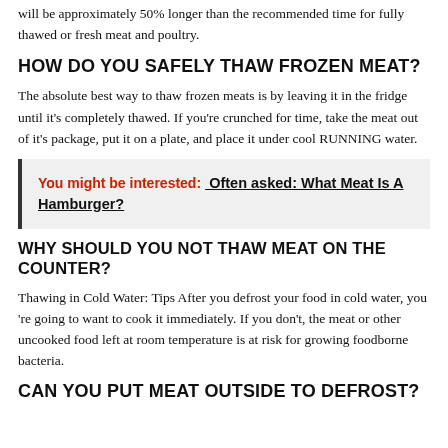will be approximately 50% longer than the recommended time for fully thawed or fresh meat and poultry.
HOW DO YOU SAFELY THAW FROZEN MEAT?
The absolute best way to thaw frozen meats is by leaving it in the fridge until it's completely thawed. If you're crunched for time, take the meat out of it's package, put it on a plate, and place it under cool RUNNING water.
You might be interested:  Often asked: What Meat Is A Hamburger?
WHY SHOULD YOU NOT THAW MEAT ON THE COUNTER?
Thawing in Cold Water: Tips After you defrost your food in cold water, you 're going to want to cook it immediately. If you don't, the meat or other uncooked food left at room temperature is at risk for growing foodborne bacteria.
CAN YOU PUT MEAT OUTSIDE TO DEFROST?